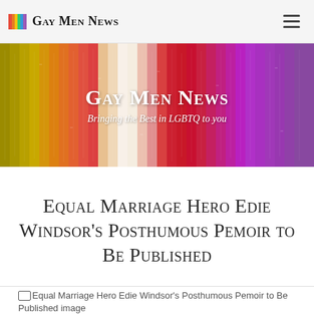Gay Men News
[Figure (illustration): Rainbow-colored vertical stripes banner with white text overlay reading 'Gay Men News' and subtitle 'Bringing the Best in LGBTQ to you']
Equal Marriage Hero Edie Windsor's Posthumous Pemoir to Be Published
[Figure (photo): Broken image placeholder for 'Equal Marriage Hero Edie Windsor's Posthumous Pemoir to Be Published image']